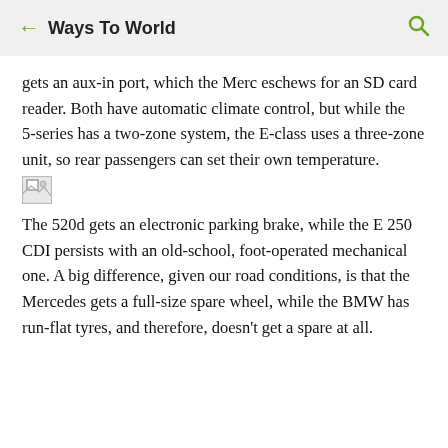Ways To World
gets an aux-in port, which the Merc eschews for an SD card reader. Both have automatic climate control, but while the 5-series has a two-zone system, the E-class uses a three-zone unit, so rear passengers can set their own temperature.
[Figure (photo): Broken/missing image placeholder]
The 520d gets an electronic parking brake, while the E 250 CDI persists with an old-school, foot-operated mechanical one. A big difference, given our road conditions, is that the Mercedes gets a full-size spare wheel, while the BMW has run-flat tyres, and therefore, doesn't get a spare at all.